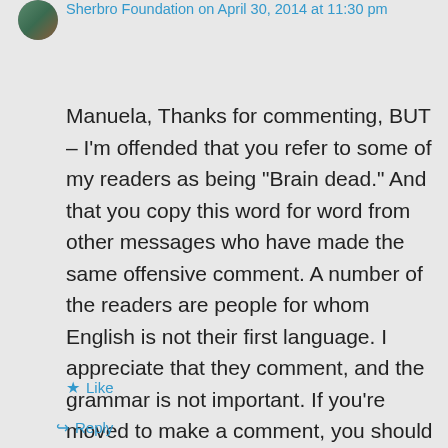Sherbro Foundation on April 30, 2014 at 11:30 pm
Manuela, Thanks for commenting, BUT – I'm offended that you refer to some of my readers as being “Brain dead.” And that you copy this word for word from other messages who have made the same offensive comment. A number of the readers are people for whom English is not their first language. I appreciate that they comment, and the grammar is not important. If you're moved to make a comment, you should also be more sensitive to this point. Arlene
★ Like
Reply